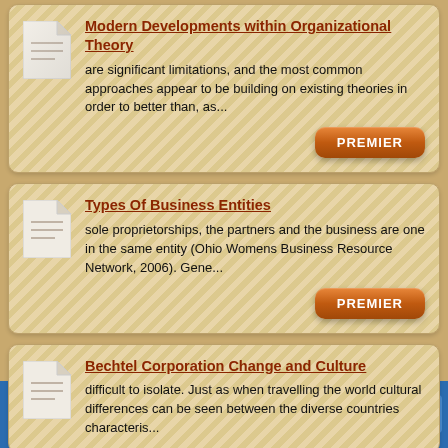Modern Developments within Organizational Theory
are significant limitations, and the most common approaches appear to be building on existing theories in order to better than, as...
Types Of Business Entities
sole proprietorships, the partners and the business are one in the same entity (Ohio Womens Business Resource Network, 2006). Gene...
Bechtel Corporation Change and Culture
difficult to isolate. Just as when travelling the world cultural differences can be seen between the diverse countries characteris...
We use cookies to ensure that we give you the best experience on our website.